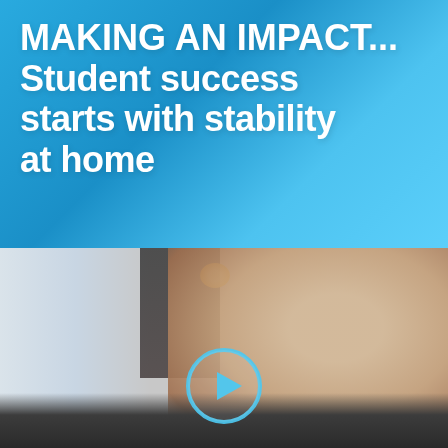MAKING AN IMPACT... Student success starts with stability at home
[Figure (photo): A young woman photographed indoors, sitting on a dark couch, with a blurred background showing a window with light on the left and a dark figure/lamp in the background. A circular play button overlay is centered at the bottom of the image, indicating this is a video thumbnail.]